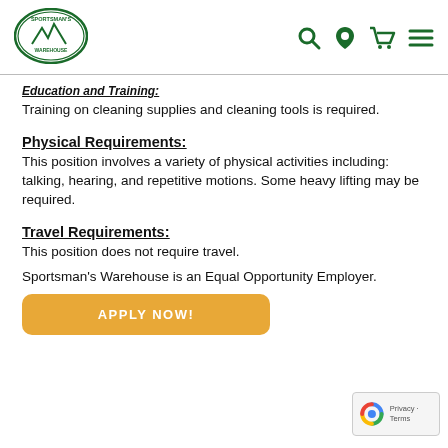Sportsman's Warehouse — navigation header with logo and icons
Education and Training:
Training on cleaning supplies and cleaning tools is required.
Physical Requirements:
This position involves a variety of physical activities including: talking, hearing, and repetitive motions. Some heavy lifting may be required.
Travel Requirements:
This position does not require travel.
Sportsman's Warehouse is an Equal Opportunity Employer.
[Figure (other): APPLY NOW! button in orange/gold color]
[Figure (other): reCAPTCHA privacy badge in bottom right corner]